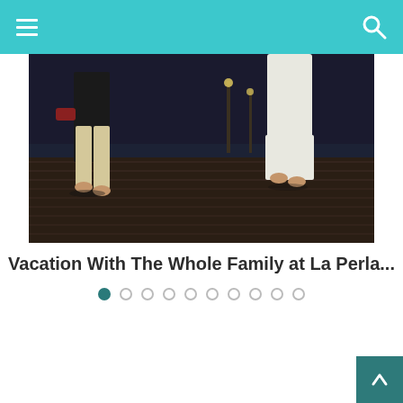Navigation header with hamburger menu and search icon
[Figure (photo): Two people walking barefoot on a wooden pier/dock at night, water with light reflections in the background]
Vacation With The Whole Family at La Perla...
Slideshow pagination dots (10 dots, first one active)